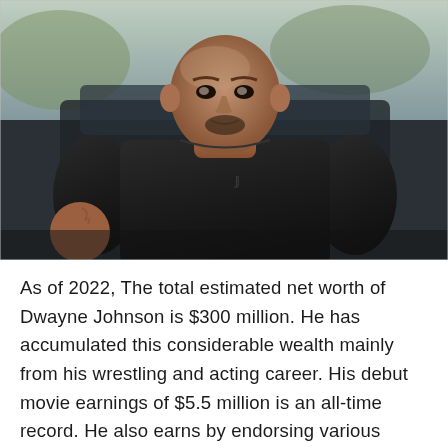[Figure (photo): Dwayne Johnson (The Rock) standing in a black Under Armour t-shirt, looking directly at the camera with a serious expression, muscular build, bald head, with a dark vehicle and blurred background behind him.]
As of 2022, The total estimated net worth of Dwayne Johnson is $300 million. He has accumulated this considerable wealth mainly from his wrestling and acting career. His debut movie earnings of $5.5 million is an all-time record. He also earns by endorsing various brands like Apple, Ford, Droga5, Got Milk, and Under Armour.